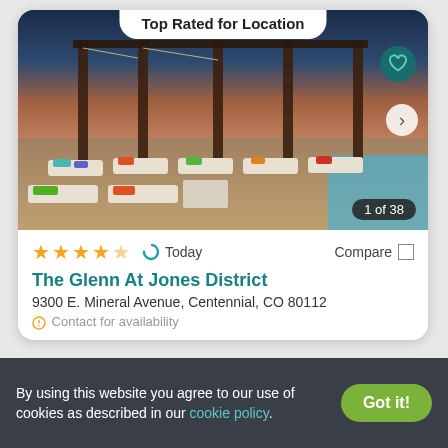Top Rated for Location
[Figure (photo): Outdoor pool area at dusk with lounge chairs featuring colorful cushions, pergola structure with string lights, and mountains in the background]
1 of 38
★★★★★ (4.5 stars) Today Compare
The Glenn At Jones District
9300 E. Mineral Avenue, Centennial, CO 80112
Contact for availability
By using this website you agree to our use of cookies as described in our cookie policy.